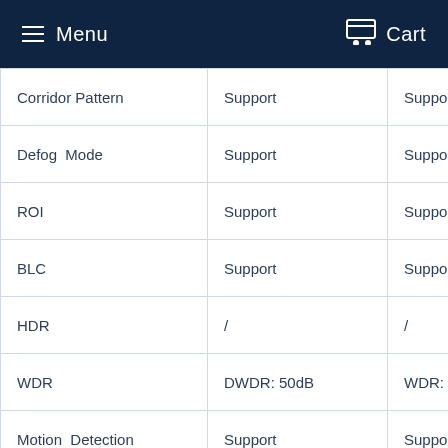Menu  Cart
| Feature | Model A | Model B |
| --- | --- | --- |
| Corridor Pattern | Support | Support |
| Defog Mode | Support | Support |
| ROI | Support | Support |
| BLC | Support | Support |
| HDR | / | / |
| WDR | DWDR: 50dB | WDR: 96dB |
| Motion Detection | Support | Support |
| Privacy Masking | 3 Rectangular Zone | 3 Rectangu... |